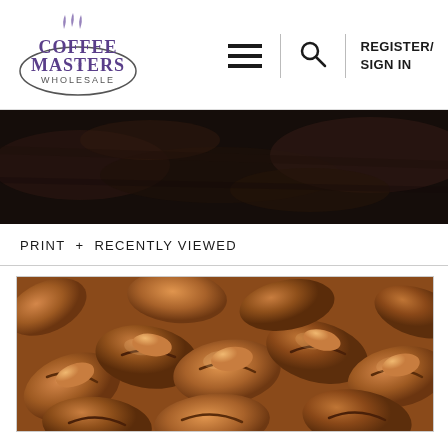[Figure (logo): Coffee Masters Wholesale logo with steam icon and oval border]
[Figure (other): Hamburger menu icon (three horizontal lines)]
[Figure (other): Search icon (magnifying glass)]
REGISTER/ SIGN IN
[Figure (photo): Dark roasted coffee beans hero background banner image]
PRINT   + RECENTLY VIEWED
[Figure (photo): Close-up photograph of shiny roasted coffee beans]